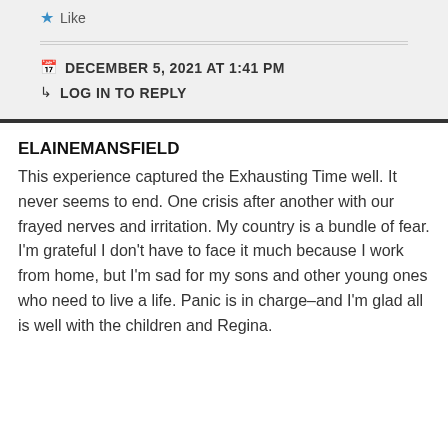Like
DECEMBER 5, 2021 AT 1:41 PM
LOG IN TO REPLY
ELAINEMANSFIELD
This experience captured the Exhausting Time well. It never seems to end. One crisis after another with our frayed nerves and irritation. My country is a bundle of fear. I’m grateful I don’t have to face it much because I work from home, but I’m sad for my sons and other young ones who need to live a life. Panic is in charge–and I’m glad all is well with the children and Regina.